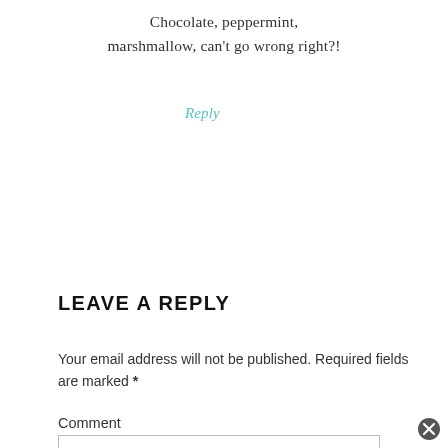Chocolate, peppermint, marshmallow, can't go wrong right?!
Reply
LEAVE A REPLY
Your email address will not be published. Required fields are marked *
Comment